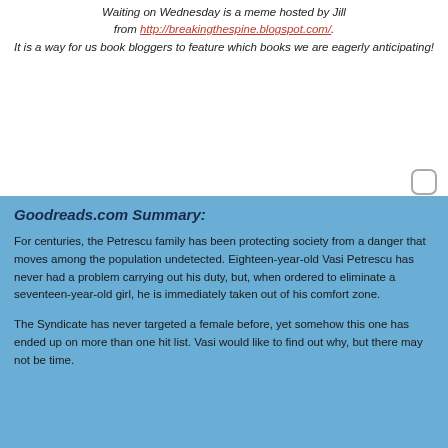Waiting on Wednesday is a meme hosted by Jill from http://breakingthespine.blogspot.com/. It is a way for us book bloggers to feature which books we are eagerly anticipating!
[Figure (other): Small rounded square icon/button in the upper right area]
Goodreads.com Summary:
For centuries, the Petrescu family has been protecting society from a danger that moves among the population undetected. Eighteen-year-old Vasi Petrescu has never had a problem carrying out his duty, but, when ordered to eliminate a seventeen-year-old girl, he is immediately taken out of his comfort zone.
The Syndicate has never targeted a female before, yet somehow this one has ended up on more than one hit list. Vasi would like to find out why, but there may not be time.